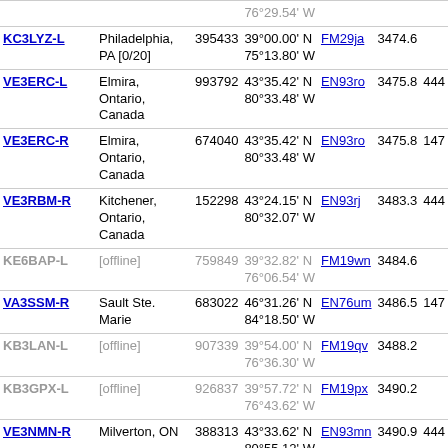| Callsign | Location | ID | Coordinates | Grid | Dist | Freq |
| --- | --- | --- | --- | --- | --- | --- |
| KC3LYZ-L | Philadelphia, PA [0/20] | 395433 | 39°00.00' N 75°13.80' W | FM29ja | 3474.6 |  |
| VE3ERC-L | Elmira, Ontario, Canada | 993792 | 43°35.42' N 80°33.48' W | EN93ro | 3475.8 | 444 |
| VE3ERC-R | Elmira, Ontario, Canada | 674040 | 43°35.42' N 80°33.48' W | EN93ro | 3475.8 | 147 |
| VE3RBM-R | Kitchener, Ontario, Canada | 152298 | 43°24.15' N 80°32.07' W | EN93rj | 3483.3 | 444 |
| KE6BAP-L | [offline] | 759849 | 39°32.82' N 76°06.54' W | FM19wn | 3484.6 |  |
| VA3SSM-R | Sault Ste. Marie | 683022 | 46°31.26' N 84°18.50' W | EN76um | 3486.5 | 147 |
| KB3LAN-L | [offline] | 907339 | 39°54.00' N 76°36.30' W | FM19qv | 3488.2 |  |
| KB3GPX-L | [offline] | 926837 | 39°57.72' N 76°43.62' W | FM19px | 3490.2 |  |
| VE3NMN-R | Milverton, ON | 388313 | 43°33.62' N 80°55.12' W | EN93mn | 3490.9 | 444 |
| K3ORB-R | Ocean City MD 443.450+ | 54045 | 38°25.23' N 75°03.33' W | FM28lk | 3494.3 | 443 |
| W3PHB-R | Philipsburg PA USA (1) | 385989 | 40°54.50' N 78°00.36' W | FN00xv | 3497.5 |  |
| WS3ARA-R | 147.090 Millsboro, DE | 622721 | 38°34.33' N 75°20.18' W | FM28hn | 3498.6 |  |
| WA3NAN-R | Greenbelt MD USA | 40045 | 39°00.00' N | FM29aa | 3505.4 |  |